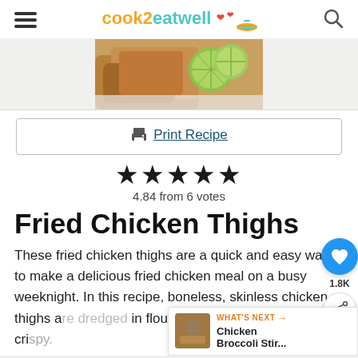cook2eatwell
[Figure (photo): Fried chicken thighs with lime slices on a plate]
Print Recipe
4.84 from 6 votes
Fried Chicken Thighs
These fried chicken thighs are a quick and easy way to make a delicious fried chicken meal on a busy weeknight. In this recipe, boneless, skinless chicken thighs a... in flour and fried until golden and crispy.